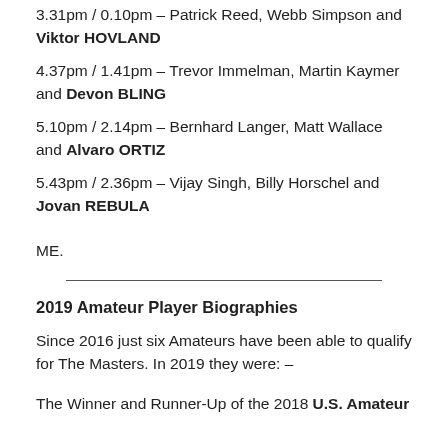3.31pm / 0.10pm – Patrick Reed, Webb Simpson and Viktor HOVLAND
4.37pm / 1.41pm – Trevor Immelman, Martin Kaymer and Devon BLING
5.10pm / 2.14pm – Bernhard Langer, Matt Wallace and Alvaro ORTIZ
5.43pm / 2.36pm – Vijay Singh, Billy Horschel and Jovan REBULA
ME.
2019 Amateur Player Biographies
Since 2016 just six Amateurs have been able to qualify for The Masters. In 2019 they were: –
The Winner and Runner-Up of the 2018 U.S. Amateur